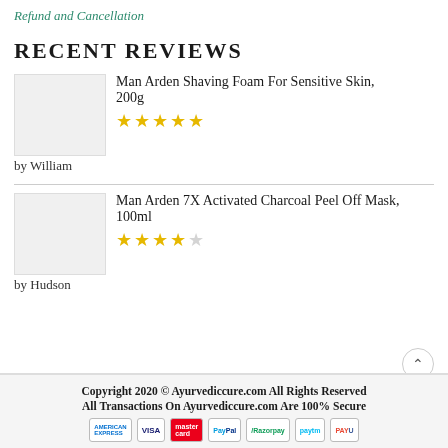Refund and Cancellation
RECENT REVIEWS
Man Arden Shaving Foam For Sensitive Skin, 200g — 5 stars — by William
Man Arden 7X Activated Charcoal Peel Off Mask, 100ml — 4 stars — by Hudson
Copyright 2020 © Ayurvediccure.com All Rights Reserved
All Transactions On Ayurvediccure.com Are 100% Secure